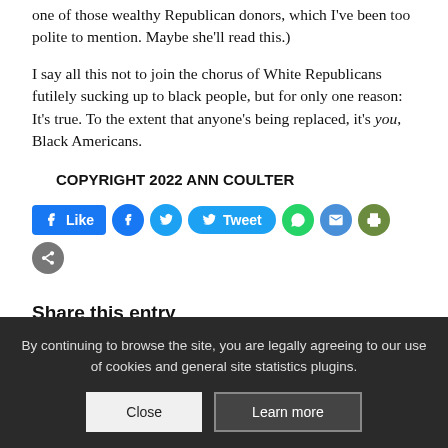one of those wealthy Republican donors, which I've been too polite to mention. Maybe she'll read this.)
I say all this not to join the chorus of White Republicans futilely sucking up to black people, but for only one reason: It's true. To the extent that anyone's being replaced, it's you, Black Americans.
COPYRIGHT 2022 ANN COULTER
[Figure (infographic): Social media sharing buttons: Facebook Like button, Facebook icon, Twitter icon, Tweet button, WhatsApp icon, Email icon, Print icon, Share icon]
Share this entry
By continuing to browse the site, you are legally agreeing to our use of cookies and general site statistics plugins.
Close   Learn more